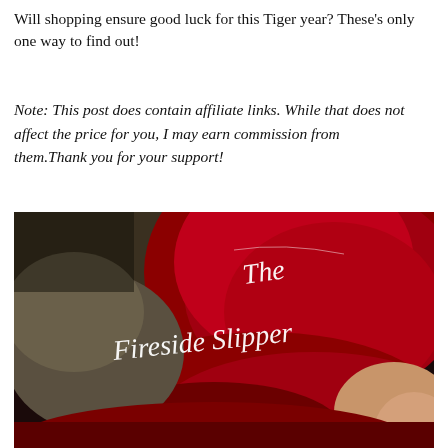Will shopping ensure good luck for this Tiger year? These's only one way to find out!
Note: This post does contain affiliate links. While that does not affect the price for you, I may earn commission from them.Thank you for your support!
[Figure (photo): Photo of a person in a red velvet outfit/slipper with cursive text overlay reading 'The Fireside Slipper' in white script on a dark background.]